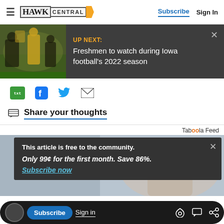HAWK CENTRAL | Subscribe | Sign In
[Figure (screenshot): Up Next banner with football players image on left. Dark grey background. Text reads: UP NEXT: Freshmen to watch during Iowa football's 2022 season. Close X button.]
[Figure (infographic): Share icons row: txt (green), Facebook (blue f), Twitter (blue bird), Email (envelope)]
Share your thoughts
Taboola Feed
[Figure (screenshot): Taboola content area with paywall overlay. Overlay text: This article is free to the community. Only 99¢ for the first month. Save 86%. Subscribe now (link).]
Subscribe | Sign in | (link icon) | (comment icon) | (share icon)